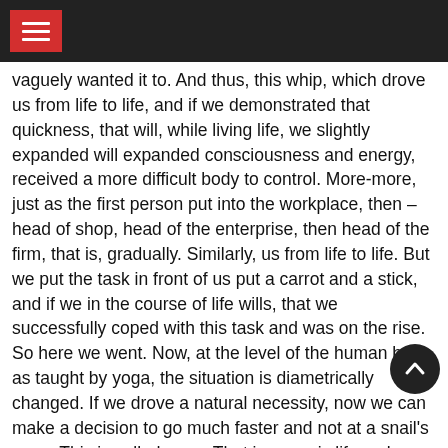vaguely wanted it to. And thus, this whip, which drove us from life to life, and if we demonstrated that quickness, that will, while living life, we slightly expanded will expanded consciousness and energy, received a more difficult body to control. More-more, just as the first person put into the workplace, then – head of shop, head of the enterprise, then head of the firm, that is, gradually. Similarly, us from life to life. But we put the task in front of us put a carrot and a stick, and if we in the course of life wills, that we successfully coped with this task and was on the rise. So here we went. Now, at the level of the human body, as taught by yoga, the situation is diametrically changed. If we drove a natural necessity, now we can make a decision to go much faster and not at a snail's pace. This is called yoga. That is, yoga is life, only Express. It is not necessary to wait neither the carrot nor the stick, if we still going to walk the stairs. Not easier for themselves very quickly to get through this all and forget? Without feeling any suffering, but on the other hand, may be not